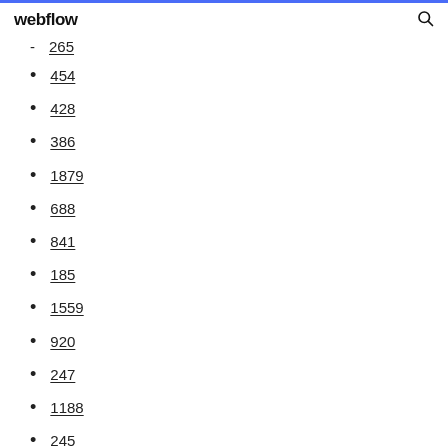webflow
265
454
428
386
1879
688
841
185
1559
920
247
1188
245